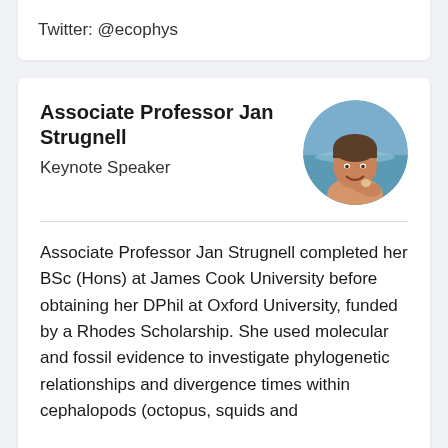Twitter: @ecophys
Associate Professor Jan Strugnell
Keynote Speaker
[Figure (photo): Circular headshot photo of Associate Professor Jan Strugnell smiling at the beach, holding something small in her hands.]
Associate Professor Jan Strugnell completed her BSc (Hons) at James Cook University before obtaining her DPhil at Oxford University, funded by a Rhodes Scholarship. She used molecular and fossil evidence to investigate phylogenetic relationships and divergence times within cephalopods (octopus, squids and